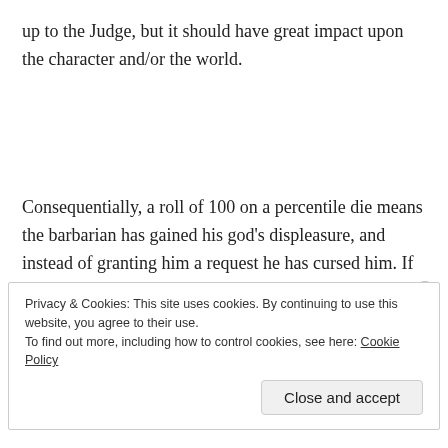up to the Judge, but it should have great impact upon the character and/or the world.
Consequentially, a roll of 100 on a percentile die means the barbarian has gained his god’s displeasure, and instead of granting him a request he has cursed him. If he is cursed, he must regain his god’s favor before he can again invoke his god (or he could probably just find a
Privacy & Cookies: This site uses cookies. By continuing to use this website, you agree to their use.
To find out more, including how to control cookies, see here: Cookie Policy
Close and accept